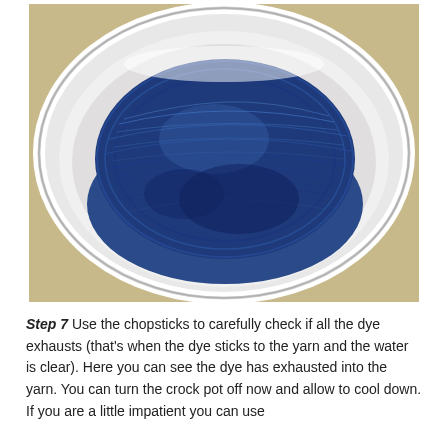[Figure (photo): A skein of blue-dyed yarn soaking in a white ceramic crock pot/slow cooker bowl, viewed from above. The yarn is a deep navy/indigo blue color, and the water appears to have been mostly absorbed.]
Step 7  Use the chopsticks to carefully check if all the dye exhausts (that's when the dye sticks to the yarn and the water is clear). Here you can see the dye has exhausted into the yarn. You can turn the crock pot off now and allow to cool down. If you are a little impatient you can use